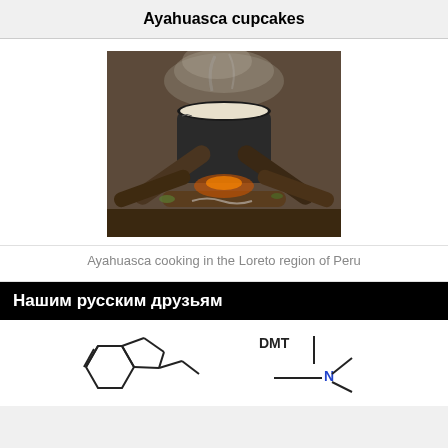Ayahuasca cupcakes
[Figure (photo): A large pot cooking on a traditional wood fire in the Loreto region of Peru, presumably boiling ayahuasca brew]
Ayahuasca cooking in the Loreto region of Peru
Нашим русским друзьям
[Figure (engineering-diagram): Chemical structural diagram of DMT (dimethyltryptamine) molecule, partially visible at bottom of page]